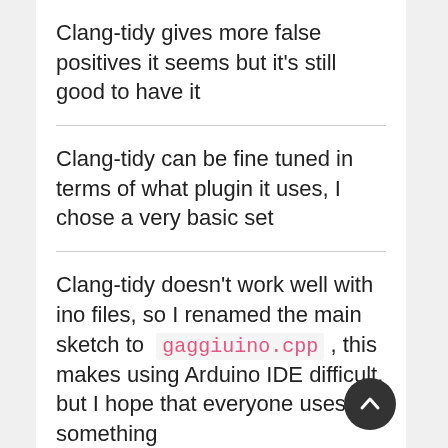Clang-tidy gives more false positives it seems but it's still good to have it
Clang-tidy can be fine tuned in terms of what plugin it uses, I chose a very basic set
Clang-tidy doesn't work well with ino files, so I renamed the main sketch to gaggiuino.cpp , this makes using Arduino IDE difficult, but I hope that everyone uses something